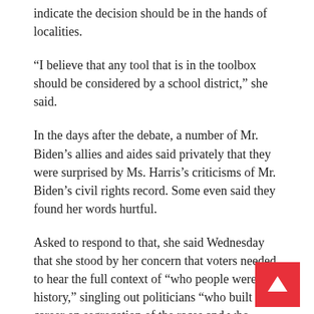indicate the decision should be in the hands of localities.
“I believe that any tool that is in the toolbox should be considered by a school district,” she said.
In the days after the debate, a number of Mr. Biden’s allies and aides said privately that they were surprised by Ms. Harris’s criticisms of Mr. Biden’s civil rights record. Some even said they found her words hurtful.
Asked to respond to that, she said Wednesday that she stood by her concern that voters needed to hear the full context of “who people were in history,” singling out politicians “who built a career on segregation of the races and who worked very hard against busing.” Mr. Biden has previously faced criticism for detailing his working relationship with segregationist senators.
“I don’t think anyone should take personal offense in terms of any supporters, or feel any kind of hurt about talking about